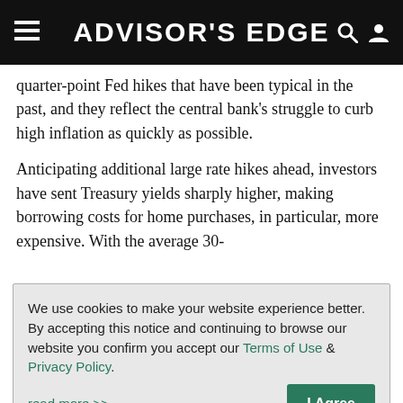ADVISOR'S EDGE
quarter-point Fed hikes that have been typical in the past, and they reflect the central bank's struggle to curb high inflation as quickly as possible.
Anticipating additional large rate hikes ahead, investors have sent Treasury yields sharply higher, making borrowing costs for home purchases, in particular, more expensive. With the average 30-
We use cookies to make your website experience better. By accepting this notice and continuing to browse our website you confirm you accept our Terms of Use & Privacy Policy.
read more >>
I Agree
forecast that while the economy will slow sharply